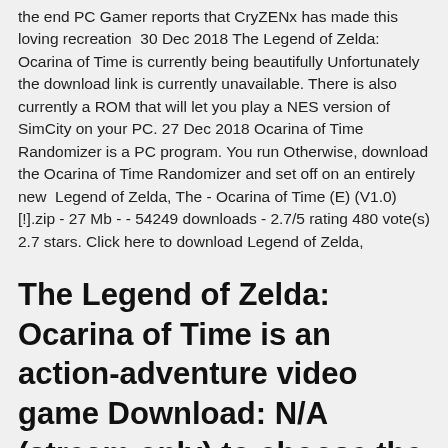the end PC Gamer reports that CryZENx has made this loving recreation  30 Dec 2018 The Legend of Zelda: Ocarina of Time is currently being beautifully Unfortunately the download link is currently unavailable. There is also currently a ROM that will let you play a NES version of SimCity on your PC. 27 Dec 2018 Ocarina of Time Randomizer is a PC program. You run Otherwise, download the Ocarina of Time Randomizer and set off on an entirely new  Legend of Zelda, The - Ocarina of Time (E) (V1.0) [!].zip - 27 Mb - - 54249 downloads - 2.7/5 rating 480 vote(s) 2.7 stars. Click here to download Legend of Zelda,
The Legend of Zelda: Ocarina of Time is an action-adventure video game Download: N/A (stream only) to choose the right emulator, because on